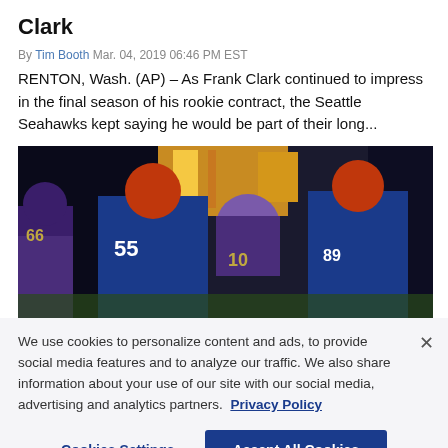Clark
By Tim Booth Mar. 04, 2019 06:46 PM EST
RENTON, Wash. (AP) – As Frank Clark continued to impress in the final season of his rookie contract, the Seattle Seahawks kept saying he would be part of their long...
[Figure (photo): Football players on field, players in blue and purple uniforms in game action]
We use cookies to personalize content and ads, to provide social media features and to analyze our traffic. We also share information about your use of our site with our social media, advertising and analytics partners. Privacy Policy
Cookies Settings  Accept All Cookies
Alliance seeks and finds new partners in commercial